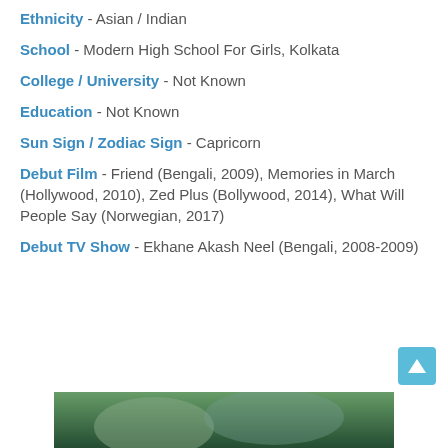Ethnicity - Asian / Indian
School - Modern High School For Girls, Kolkata
College / University - Not Known
Education - Not Known
Sun Sign / Zodiac Sign - Capricorn
Debut Film - Friend (Bengali, 2009), Memories in March (Hollywood, 2010), Zed Plus (Bollywood, 2014), What Will People Say (Norwegian, 2017)
Debut TV Show - Ekhane Akash Neel (Bengali, 2008-2009)
[Figure (photo): Partial photo of a person at the bottom of the page]